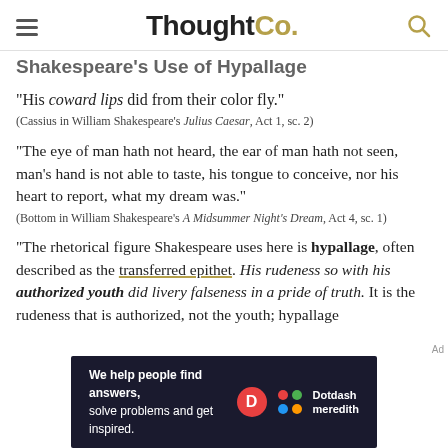ThoughtCo.
Shakespeare's Use of Hypallage
"His coward lips did from their color fly."
(Cassius in William Shakespeare's Julius Caesar, Act 1, sc. 2)
"The eye of man hath not heard, the ear of man hath not seen, man's hand is not able to taste, his tongue to conceive, nor his heart to report, what my dream was."
(Bottom in William Shakespeare's A Midsummer Night's Dream, Act 4, sc. 1)
"The rhetorical figure Shakespeare uses here is hypallage, often described as the transferred epithet. His rudeness so with his authorized youth did livery falseness in a pride of truth. It is the rudeness that is authorized, not the youth; hypallage
[Figure (other): Advertisement banner: We help people find answers, solve problems and get inspired. Dotdash meredith logo.]